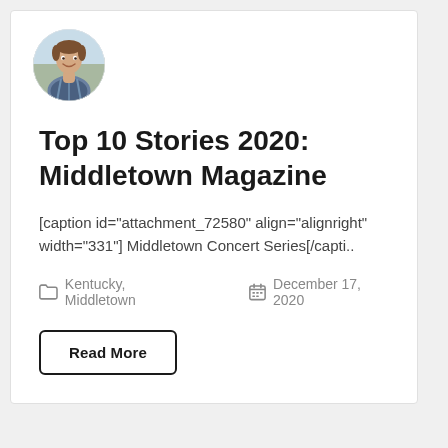[Figure (photo): Circular avatar photo of a young man in a plaid shirt, smiling, with blurred outdoor background]
Top 10 Stories 2020: Middletown Magazine
[caption id="attachment_72580" align="alignright" width="331"] Middletown Concert Series[/capti..
Kentucky, Middletown   December 17, 2020
Read More